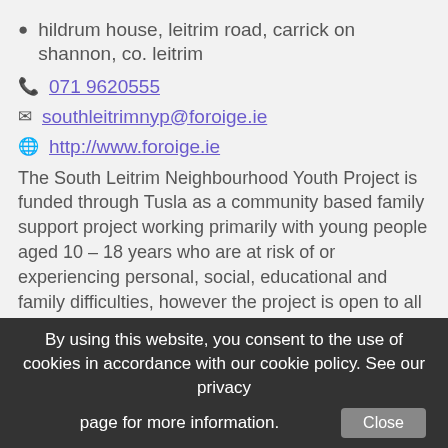hildrum house, leitrim road, carrick on shannon, co. leitrim
071 9620555
southleitrimnyp@foroige.ie
http://www.foroige.ie
The South Leitrim Neighbourhood Youth Project is funded through Tusla as a community based family support project working primarily with young people aged 10 – 18 years who are at risk of or experiencing personal, social, educational and family difficulties, however the project is open to all young people. Based in and serving Carrick-on-Shannon this project has an outreach brief for the south Leitrim area including Mohill, Carrigallen, Ballinamore, Drumshanbo,
By using this website, you consent to the use of cookies in accordance with our cookie policy. See our privacy page for more information. Close